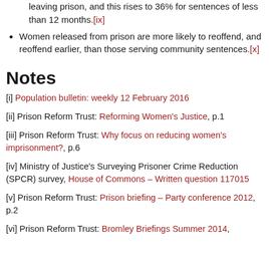leaving prison, and this rises to 36% for sentences of less than 12 months.[ix]
Women released from prison are more likely to reoffend, and reoffend earlier, than those serving community sentences.[x]
Notes
[i] Population bulletin: weekly 12 February 2016
[ii] Prison Reform Trust: Reforming Women's Justice, p.1
[iii] Prison Reform Trust: Why focus on reducing women's imprisonment?, p.6
[iv] Ministry of Justice's Surveying Prisoner Crime Reduction (SPCR) survey, House of Commons – Written question 117015
[v] Prison Reform Trust: Prison briefing – Party conference 2012, p.2
[vi] Prison Reform Trust: Bromley Briefings Summer 2014,